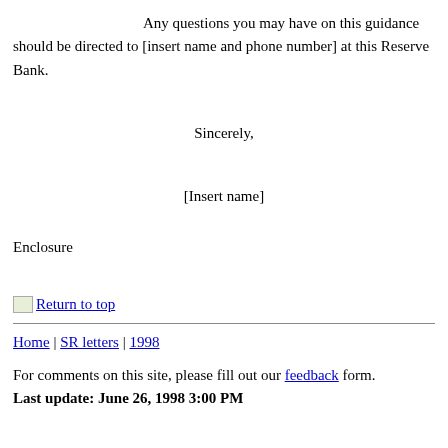Any questions you may have on this guidance should be directed to [insert name and phone number] at this Reserve Bank.
Sincerely,
[Insert name]
Enclosure
Return to top
Home | SR letters | 1998
For comments on this site, please fill out our feedback form.
Last update: June 26, 1998 3:00 PM